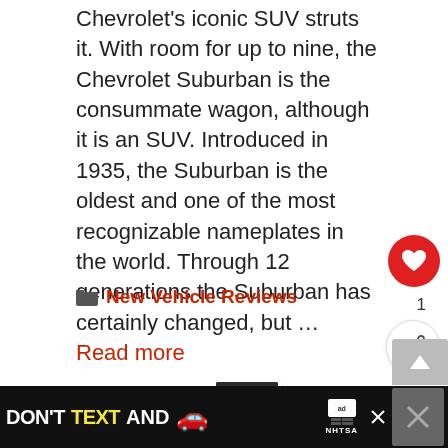Chevrolet's iconic SUV struts it. With room for up to nine, the Chevrolet Suburban is the consummate wagon, although it is an SUV. Introduced in 1935, the Suburban is the oldest and one of the most recognizable nameplates in the world. Through 12 generations the Suburban has certainly changed, but … Read more
New Vehicle Reviews
Refreshed: 2022 GMC Sierra 1500 Denali
[Figure (photo): Thumbnail image of a vehicle wheel/tire for the next article about 2022 GMC Sierra 1500 Denali]
WHAT'S NEXT → 7 Causes of Noise When...
[Figure (photo): Advertisement banner: DON'T TEXT AND (car emoji) with NHTSA logo and ad choices icon]